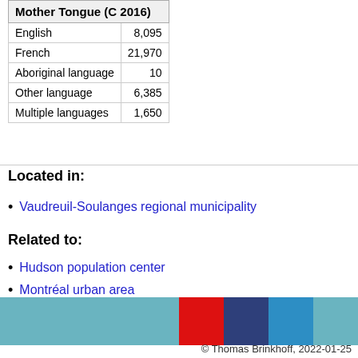| Mother Tongue (C 2016) |  |
| --- | --- |
| English | 8,095 |
| French | 21,970 |
| Aboriginal language | 10 |
| Other language | 6,385 |
| Multiple languages | 1,650 |
Located in:
Vaudreuil-Soulanges regional municipality
Related to:
Hudson population center
Montréal urban area
[Figure (other): Horizontal color bar with segments: light teal (x4), red, dark navy blue, medium blue, light teal]
© Thomas Brinkhoff, 2022-01-25